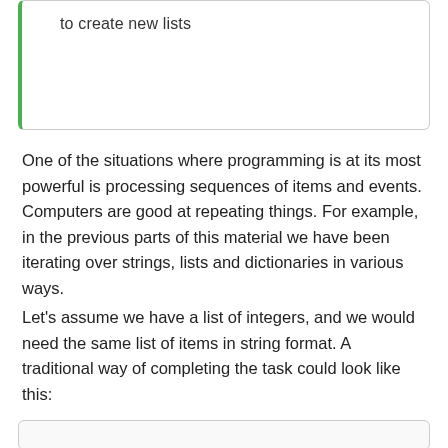to create new lists
One of the situations where programming is at its most powerful is processing sequences of items and events. Computers are good at repeating things. For example, in the previous parts of this material we have been iterating over strings, lists and dictionaries in various ways.
Let's assume we have a list of integers, and we would need the same list of items in string format. A traditional way of completing the task could look like this: